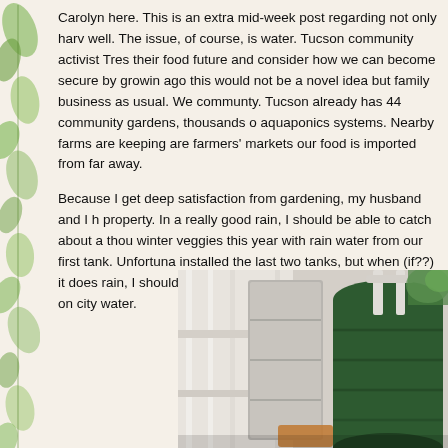Carolyn here. This is an extra mid-week post regarding not only harv well. The issue, of course, is water. Tucson community activist Tres their food future and consider how we can become secure by growin ago this would not be a novel idea but family business as usual. We communty. Tucson already has 44 community gardens, thousands o aquaponics systems. Nearby farms are keeping are farmers' markets our food is imported from far away.
Because I get deep satisfaction from gardening, my husband and I h property. In a really good rain, I should be able to catch about a thou winter veggies this year with rain water from our first tank. Unfortuna installed the last two tanks, but when (if??) it does rain, I should be a leaving only the trees and the house on city water.
[Figure (photo): Outdoor photo showing rain water collection tanks — a large dark green tank and white fence/structure components visible, with what appears to be PVC pipes and garden equipment.]